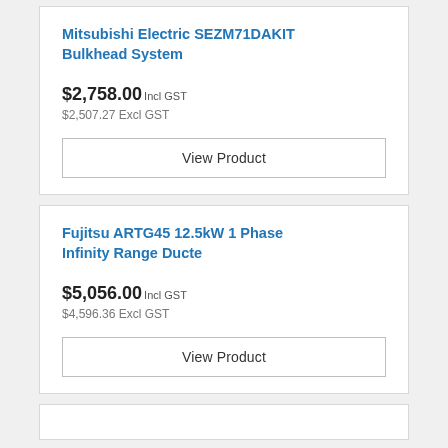Mitsubishi Electric SEZM71DAKIT Bulkhead System
$2,758.00 Incl GST
$2,507.27 Excl GST
View Product
Fujitsu ARTG45 12.5kW 1 Phase Infinity Range Ducte
$5,056.00 Incl GST
$4,596.36 Excl GST
View Product